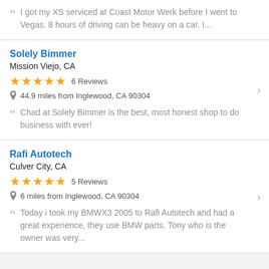I got my XS serviced at Coast Motor Werk before I went to Vegas. 8 hours of driving can be heavy on a car. I...
Solely Bimmer
Mission Viejo, CA
★★★★★ 6 Reviews
44.9 miles from Inglewood, CA 90304
Chad at Solely Bimmer is the best, most honest shop to do business with ever!
Rafi Autotech
Culver City, CA
★★★★★ 5 Reviews
6 miles from Inglewood, CA 90304
Today i took my BMWX3 2005 to Rafi Autotech and had a great experience, they use BMW parts. Tony who is the owner was very...